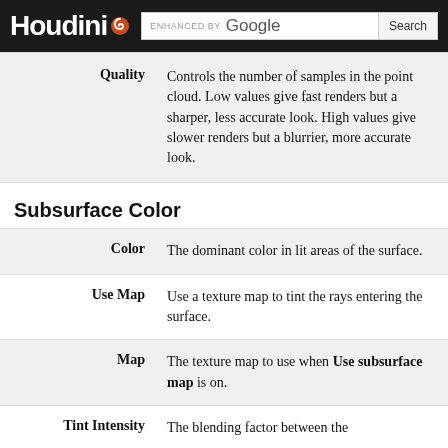Houdini — ENHANCED BY Google [Search]
| Parameter | Description |
| --- | --- |
| Quality | Controls the number of samples in the point cloud. Low values give fast renders but a sharper, less accurate look. High values give slower renders but a blurrier, more accurate look. |
Subsurface Color
| Parameter | Description |
| --- | --- |
| Color | The dominant color in lit areas of the surface. |
| Use Map | Use a texture map to tint the rays entering the surface. |
| Map | The texture map to use when Use subsurface map is on. |
| Tint Intensity | The blending factor between the |